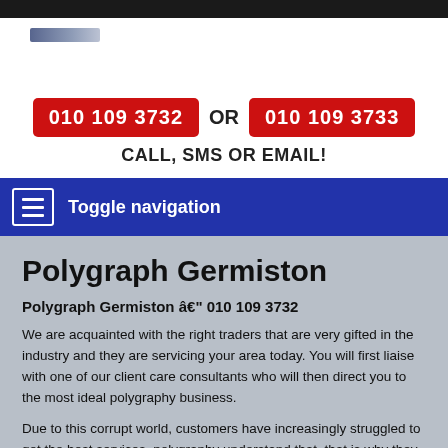[Figure (logo): Logo image — small horizontal dark blue/grey gradient bar]
010 109 3732 OR 010 109 3733
CALL, SMS OR EMAIL!
Toggle navigation
Polygraph Germiston
Polygraph Germiston â€" 010 109 3732
We are acquainted with the right traders that are very gifted in the industry and they are servicing your area today. You will first liaise with one of our client care consultants who will then direct you to the most ideal polygraphy business.
Due to this corrupt world, customers have increasingly struggled to get the best services, polygraphy understand that, that is why they will call